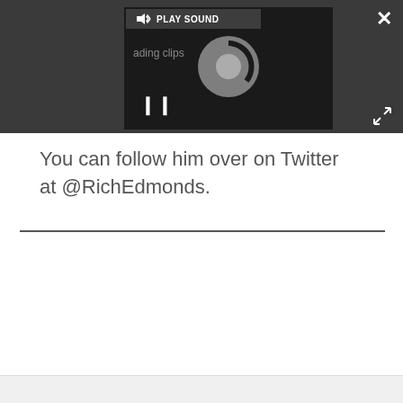[Figure (screenshot): Dark overlay video player UI with a 'PLAY SOUND' button bar showing a speaker icon and text, a circular loading/spinner graphic in the center, a pause (II) button at bottom left, a close (X) button at top right, and an expand arrows button at bottom right.]
You can follow him over on Twitter at @RichEdmonds.